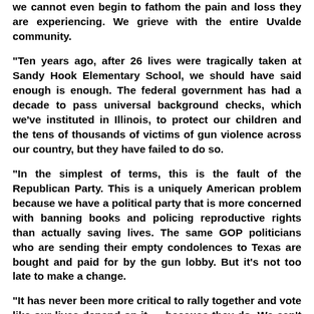we cannot even begin to fathom the pain and loss they are experiencing. We grieve with the entire Uvalde community.
"Ten years ago, after 26 lives were tragically taken at Sandy Hook Elementary School, we should have said enough is enough. The federal government has had a decade to pass universal background checks, which we've instituted in Illinois, to protect our children and the tens of thousands of victims of gun violence across our country, but they have failed to do so.
"In the simplest of terms, this is the fault of the Republican Party. This is a uniquely American problem because we have a political party that is more concerned with banning books and policing reproductive rights than actually saving lives. The same GOP politicians who are sending their empty condolences to Texas are bought and paid for by the gun lobby. But it's not too late to make a change.
"It has never been more critical to rally together and vote like our lives depend on it — because they do. We can't keep electing sham candidates backed by the NRA who care more about profits than protecting the lives of their fellow Americans. Thoughts and prayers